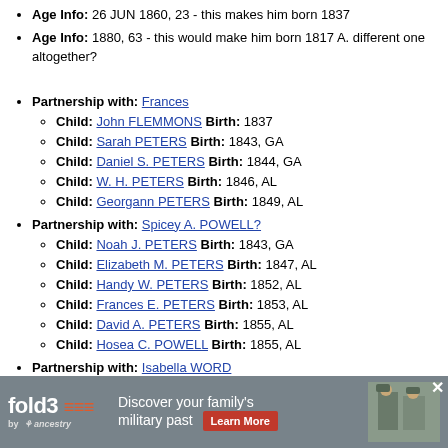Age Info: 26 JUN 1860, 23 - this makes him born 1837
Age Info: 1880, 63 - this would make him born 1817 A. different one altogether?
Partnership with: Frances
Child: John FLEMMONS Birth: 1837
Child: Sarah PETERS Birth: 1843, GA
Child: Daniel S. PETERS Birth: 1844, GA
Child: W. H. PETERS Birth: 1846, AL
Child: Georgann PETERS Birth: 1849, AL
Partnership with: Spicey A. POWELL?
Child: Noah J. PETERS Birth: 1843, GA
Child: Elizabeth M. PETERS Birth: 1847, AL
Child: Handy W. PETERS Birth: 1852, AL
Child: Frances E. PETERS Birth: 1853, AL
Child: David A. PETERS Birth: 1855, AL
Child: Hosea C. POWELL Birth: 1855, AL
Partnership with: Isabella WORD
Marriage: 3 AUG 1853, Gadsden Co, FL
Child: Ella Ann PETERS Birth: 1856, FL
[Figure (infographic): fold3 by Ancestry advertisement banner: Discover your family's military past with Learn More button and photo of soldiers]